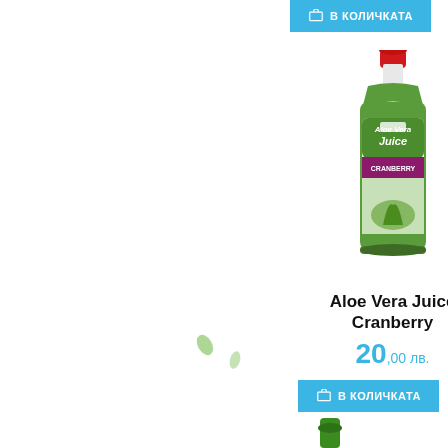[Figure (illustration): Decorative hexagonal pattern background with light blue hexagon outlines on white, with small green leaf/plant decorative elements]
[Figure (photo): Bottle of Aloe Vera Juice Cranberry supplement drink with red cap and green label showing cranberry imagery]
Aloe Vera Juice Cranberry
20,00 лв.
В КОЛИЧКАТА
В КОЛИЧКАТА